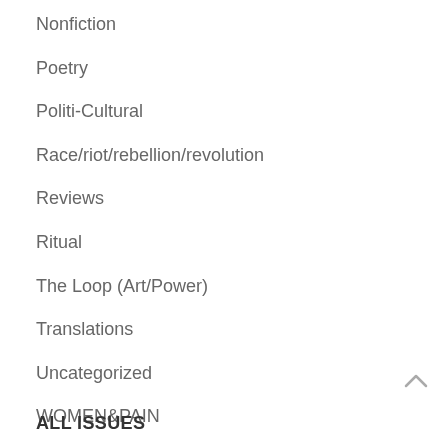Nonfiction
Poetry
Politi-Cultural
Race/riot/rebellion/revolution
Reviews
Ritual
The Loop (Art/Power)
Translations
Uncategorized
WOMEN&PAIN
ALL ISSUES